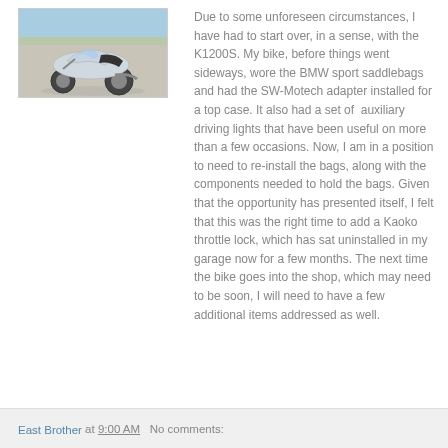[Figure (photo): A BMW K1200S sport motorcycle parked outdoors near the ocean/waterfront on a sunny day, viewed from the side/front-right angle.]
Due to some unforeseen circumstances, I have had to start over, in a sense, with the K1200S. My bike, before things went sideways, wore the BMW sport saddlebags and had the SW-Motech adapter installed for a top case. It also had a set of auxiliary driving lights that have been useful on more than a few occasions. Now, I am in a position to need to re-install the bags, along with the components needed to hold the bags. Given that the opportunity has presented itself, I felt that this was the right time to add a Kaoko throttle lock, which has sat uninstalled in my garage now for a few months. The next time the bike goes into the shop, which may need to be soon, I will need to have a few additional items addressed as well.
East Brother at 9:00 AM   No comments: